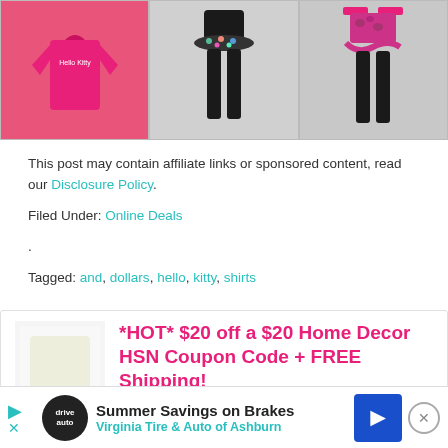[Figure (photo): Three children's clothing items: a pink Hello Kitty long-sleeve shirt (left), a black leggings set with polka dot ruffle top (middle), and a pink/black leopard print ruffle set (right)]
This post may contain affiliate links or sponsored content, read our Disclosure Policy.
Filed Under: Online Deals
.
Tagged: and, dollars, hello, kitty, shirts
*HOT* $20 off a $20 Home Decor HSN Coupon Code + FREE Shipping!
This Raining Hot Coupons deal was posted on October 30, 2012
Summer Savings on Brakes Virginia Tire & Auto of Ashburn